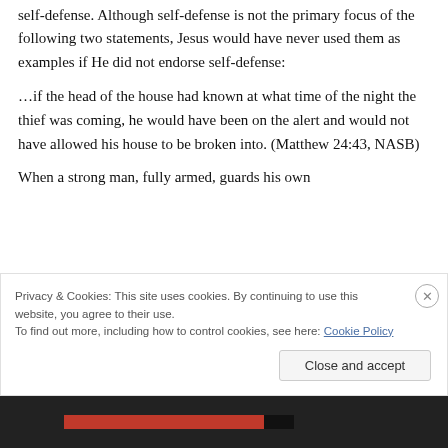self-defense. Although self-defense is not the primary focus of the following two statements, Jesus would have never used them as examples if He did not endorse self-defense:
…if the head of the house had known at what time of the night the thief was coming, he would have been on the alert and would not have allowed his house to be broken into. (Matthew 24:43, NASB)
When a strong man, fully armed, guards his own
Privacy & Cookies: This site uses cookies. By continuing to use this website, you agree to their use.
To find out more, including how to control cookies, see here: Cookie Policy